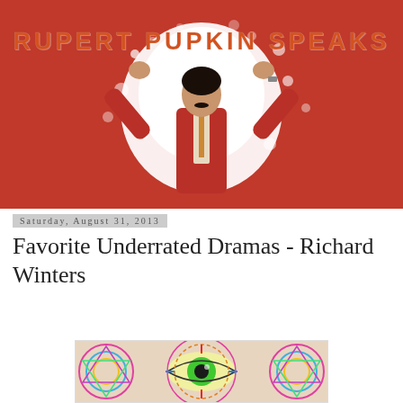[Figure (photo): Blog header banner with red background showing a man in a red suit with arms raised, surrounded by a white explosion/splash effect, with the text RUPERT PUPKIN SPEAKS in orange-brown letters at the top]
Saturday, August 31, 2013
Favorite Underrated Dramas - Richard Winters
[Figure (illustration): Colorful psychedelic illustration featuring a large green eye in the center surrounded by ornate mandala-like patterns with multiple colors including pink, blue, yellow, and green]